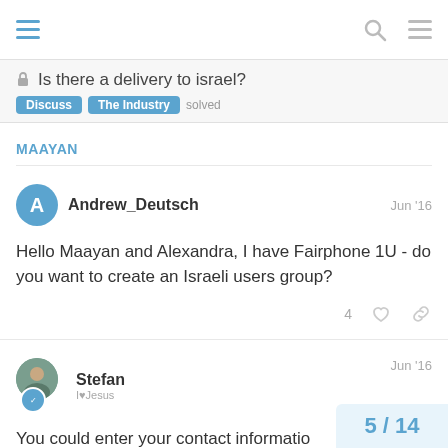Is there a delivery to israel? | Discuss | The Industry | solved
MAAYAN (cut off)
Andrew_Deutsch  Jun '16
Hello Maayan and Alexandra, I have Fairphone 1U - do you want to create an Israeli users group?
4 likes
Stefan  Jun '16
You could enter your contact information Fairphoners Address Book. It would be t...